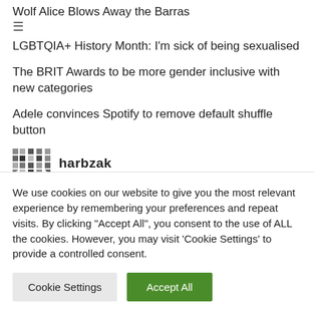Wolf Alice Blows Away the Barras
≡
LGBTQIA+ History Month: I'm sick of being sexualised
The BRIT Awards to be more gender inclusive with new categories
Adele convinces Spotify to remove default shuffle button
[Figure (logo): harbzak logo: pixelated/mosaic style graphic mark followed by bold text 'harbzak']
We use cookies on our website to give you the most relevant experience by remembering your preferences and repeat visits. By clicking "Accept All", you consent to the use of ALL the cookies. However, you may visit 'Cookie Settings' to provide a controlled consent.
Cookie Settings | Accept All